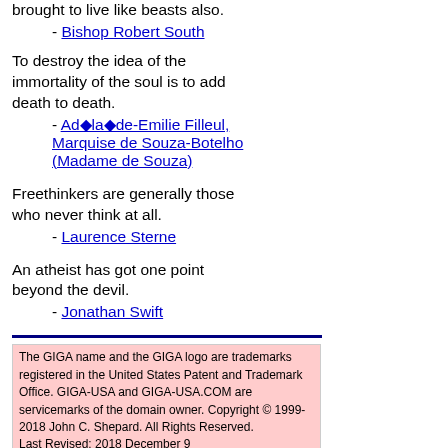brought to live like beasts also.
- Bishop Robert South
To destroy the idea of the immortality of the soul is to add death to death.
- Ad�la�de-Emilie Filleul, Marquise de Souza-Botelho (Madame de Souza)
Freethinkers are generally those who never think at all.
- Laurence Sterne
An atheist has got one point beyond the devil.
- Jonathan Swift
The GIGA name and the GIGA logo are trademarks registered in the United States Patent and Trademark Office. GIGA-USA and GIGA-USA.COM are servicemarks of the domain owner. Copyright © 1999-2018 John C. Shepard. All Rights Reserved. Last Revised: 2018 December 9